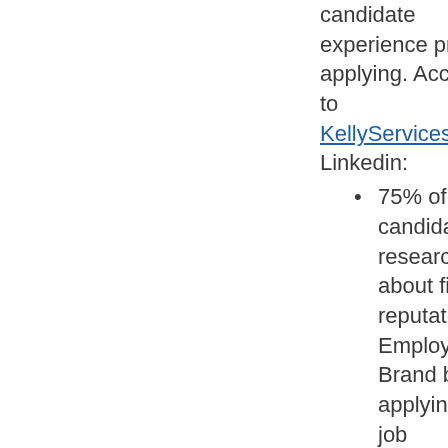candidate experience prior to applying. According to KellyServices.com Linkedin:
75% of candidates research about firm's reputation and Employer Brand before applying for a job
83% of employers say that Employer Brand plays a significant role in their